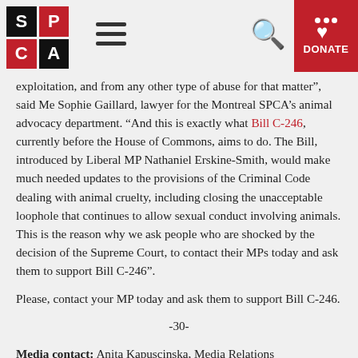SPCA | Hamburger menu | Search | DONATE
exploitation, and from any other type of abuse for that matter", said Me Sophie Gaillard, lawyer for the Montreal SPCA’s animal advocacy department. “And this is exactly what Bill C-246, currently before the House of Commons, aims to do. The Bill, introduced by Liberal MP Nathaniel Erskine-Smith, would make much needed updates to the provisions of the Criminal Code dealing with animal cruelty, including closing the unacceptable loophole that continues to allow sexual conduct involving animals. This is the reason why we ask people who are shocked by the decision of the Supreme Court, to contact their MPs today and ask them to support Bill C-246”.
Please, contact your MP today and ask them to support Bill C-246.
-30-
Media contact: Anita Kapuscinska, Media Relations